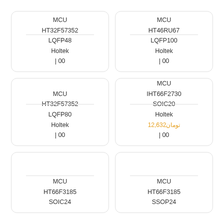[Figure (other): Product card: MCU HT32F57352 LQFP48 Holtek | 00]
[Figure (other): Product card: MCU HT46RU67 LQFP100 Holtek | 00]
[Figure (other): Product card: MCU HT32F57352 LQFP80 Holtek | 00]
[Figure (other): Product card: MCU IHT66F2730 SOIC20 Holtek 12,632 تومان | 00]
[Figure (other): Product card: MCU HT66F3185 SOIC24]
[Figure (other): Product card: MCU HT66F3185 SSOP24]